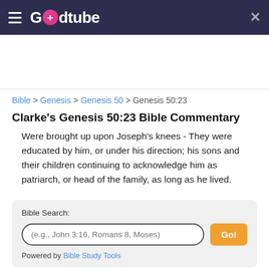Godtube
Bible > Genesis > Genesis 50 > Genesis 50:23
Clarke's Genesis 50:23 Bible Commentary
Were brought up upon Joseph's knees - They were educated by him, or under his direction; his sons and their children continuing to acknowledge him as patriarch, or head of the family, as long as he lived.
Bible Search:
(e.g., John 3:16, Romans 8, Moses)
Go!
Powered by Bible Study Tools